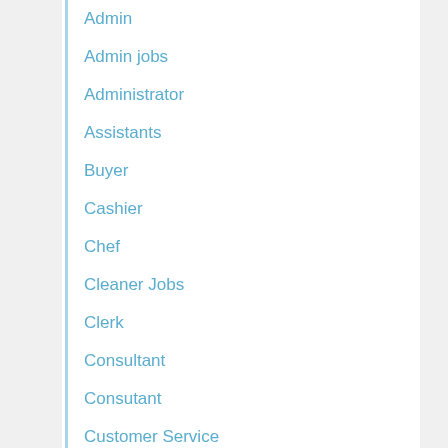Admin
Admin jobs
Administrator
Assistants
Buyer
Cashier
Chef
Cleaner Jobs
Clerk
Consultant
Consutant
Customer Service
Delivery Assistant
Driver
Driver Jobs
Electrician